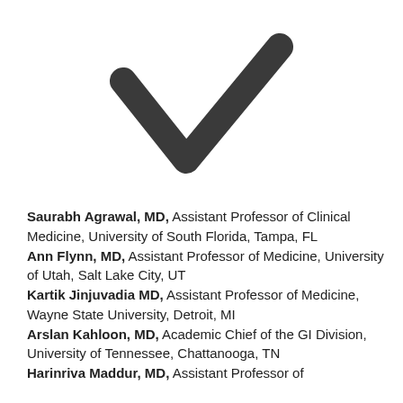[Figure (illustration): A large bold checkmark (tick) symbol in dark charcoal/near-black color, centered horizontally near the top of the page.]
Saurabh Agrawal, MD, Assistant Professor of Clinical Medicine, University of South Florida, Tampa, FL
Ann Flynn, MD, Assistant Professor of Medicine, University of Utah, Salt Lake City, UT
Kartik Jinjuvadia MD, Assistant Professor of Medicine, Wayne State University, Detroit, MI
Arslan Kahloon, MD, Academic Chief of the GI Division, University of Tennessee, Chattanooga, TN
Harinriva Maddur, MD, Assistant Professor of